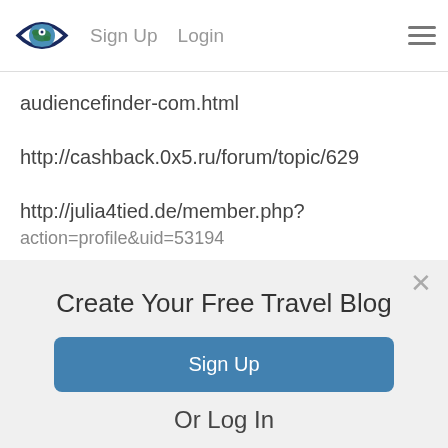Sign Up  Login
audiencefinder-com.html
http://cashback.0x5.ru/forum/topic/629
http://julia4tied.de/member.php?
Create Your Free Travel Blog
Sign Up
Or Log In
Log In